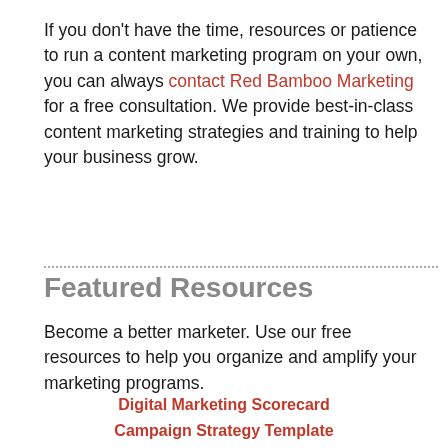If you don't have the time, resources or patience to run a content marketing program on your own, you can always contact Red Bamboo Marketing for a free consultation. We provide best-in-class content marketing strategies and training to help your business grow.
Featured Resources
Become a better marketer. Use our free resources to help you organize and amplify your marketing programs.
Digital Marketing Scorecard
Campaign Strategy Template
Marketing Budget Planner
SEE ALL RESOURCES